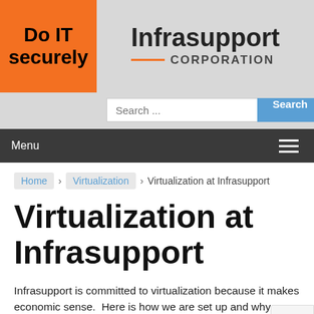[Figure (logo): Do IT securely logo on orange background with Infrasupport Corporation brand on grey background]
Search ...
Menu
Home › Virtualization › Virtualization at Infrasupport
Virtualization at Infrasupport
Infrasupport is committed to virtualization because it makes economic sense.  Here is how we are set up and why we chose to do it this way.